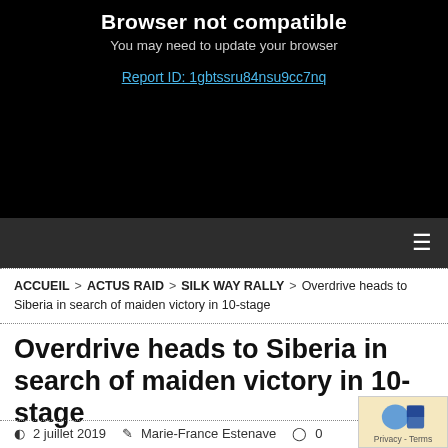[Figure (screenshot): Browser compatibility error box with black background showing 'Browser not compatible', 'You may need to update your browser', and a Report ID link in blue.]
☰
ACCUEIL > ACTUS RAID > SILK WAY RALLY > Overdrive heads to Siberia in search of maiden victory in 10-stage
Overdrive heads to Siberia in search of maiden victory in 10-stage
2 juillet 2019  Marie-France Estenave  0